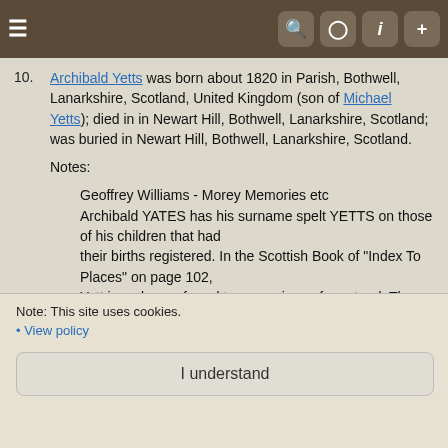Navigation bar with hamburger menu and icons (search, camera, info, plus)
10. Archibald Yetts was born about 1820 in Parish, Bothwell, Lanarkshire, Scotland, United Kingdom (son of Michael Yetts); died in in Newart Hill, Bothwell, Lanarkshire, Scotland; was buried in Newart Hill, Bothwell, Lanarkshire, Scotland.
Notes:
Geoffrey Williams - Morey Memories etc
Archibald YATES has his surname spelt YETTS on those of his children that had
their births registered. In the Scottish Book of "Index To Places" on page 102,
Yett is a place referred to as a ruinous farmstead. There are two places in
Scotland with the name Yett. One is in Strathclyde near Ayr and the other is
also in Strathclyde but near Motherwell. There is a Yetts o' Muckhart on the
A91 between Stirling and St Andrew. One may assume, then, that the YATES family
are truly from that area around Glasgow and had been for centurys.
Note: This site uses cookies.
• View policy
I understand